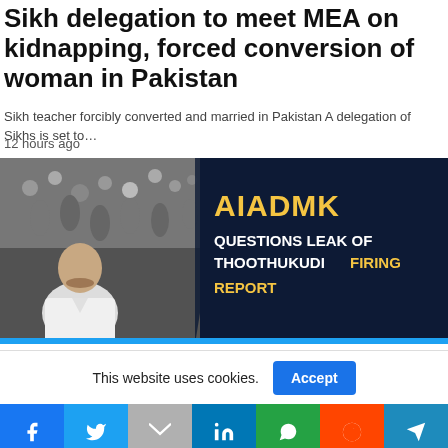Sikh delegation to meet MEA on kidnapping, forced conversion of woman in Pakistan
Sikh teacher forcibly converted and married in Pakistan A delegation of Sikhs is set to…
12 hours ago
[Figure (photo): News thumbnail image showing a man in a white shirt in front of a crowd scene (black and white), with dark blue right panel showing text: AIADMK QUESTIONS LEAK OF THOOTHUKUDI FIRING REPORT]
This website uses cookies.
Accept
Social share bar with Facebook, Twitter, Gmail, LinkedIn, WhatsApp, Reddit, Telegram buttons